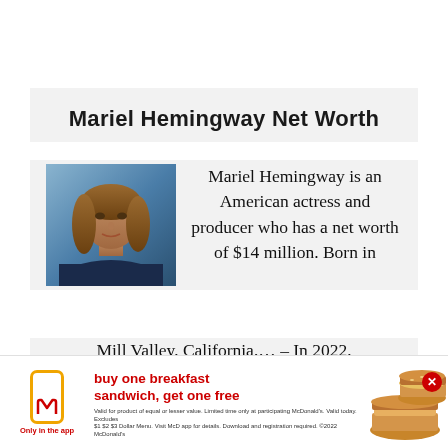Mariel Hemingway Net Worth
[Figure (photo): Photo of Mariel Hemingway, a woman with long brown hair against a blue background]
Mariel Hemingway is an American actress and producer who has a net worth of $14 million. Born in Mill Valley, California,... – In 2022, Mariel Hemingway's net...
[Figure (photo): McDonald's advertisement: buy one breakfast sandwich, get one free. Only in the app. Shows McDonald's logo and breakfast sandwiches.]
buy one breakfast sandwich, get one free
Valid for product of equal or lesser value. Limited time only at participating McDonald's. Valid today. Excludes $1 $2 $3 Dollar Menu. Visit McD app for details. Download and registration required. ©2022 McDonald's